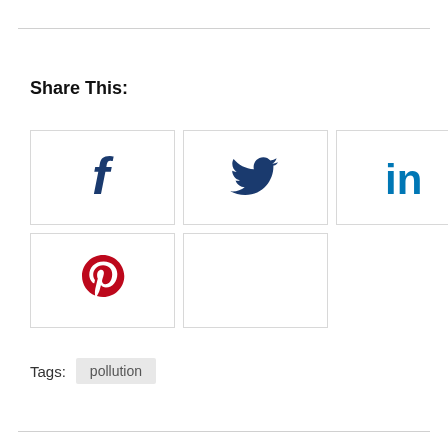Share This:
[Figure (infographic): Social media sharing buttons: Facebook (f icon, dark blue), Twitter (bird icon, dark blue), LinkedIn (in icon, teal blue), Pinterest (P icon, red), and one empty placeholder box arranged in a 3x2 grid]
Tags:  pollution